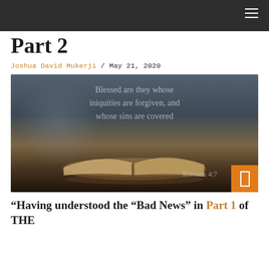Part 2
Joshua David Mukerji / May 21, 2020
[Figure (photo): Open Bible on a dark reflective surface with overlaid text reading 'Blessed are they whose iniquities are forgiven, and whose sins are covered' and citation 'Romans 4:7']
“Having understood the “Bad News” in Part 1 of THE